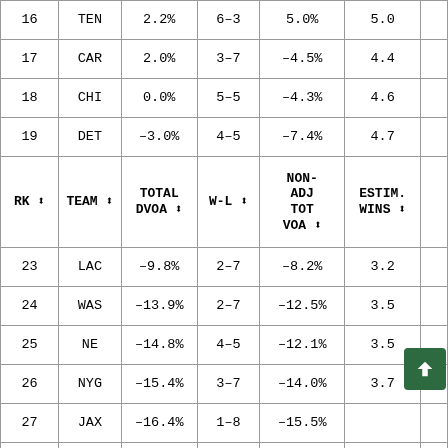| RK | TEAM | TOTAL DVOA | W-L | NON-ADJ TOT VOA | ESTIM. WINS |  |
| --- | --- | --- | --- | --- | --- | --- |
| 16 | TEN | 2.2% | 6-3 | 5.0% | 5.0 |  |
| 17 | CAR | 2.0% | 3-7 | -4.5% | 4.4 |  |
| 18 | CHI | 0.0% | 5-5 | -4.3% | 4.6 |  |
| 19 | DET | -3.0% | 4-5 | -7.4% | 4.7 |  |
| [header row] |  |  |  |  |  |  |
| 23 | LAC | -9.8% | 2-7 | -8.2% | 3.2 |  |
| 24 | WAS | -13.9% | 2-7 | -12.5% | 3.5 |  |
| 25 | NE | -14.8% | 4-5 | -12.1% | 3.5 |  |
| 26 | NYG | -15.4% | 3-7 | -14.0% | 3.7 |  |
| 27 | JAX | -16.4% | 1-8 | -15.5% |  |  |
| 28 | DAL | -21.0% | 2-7 | -22.4% | 3.3 |  |
| 29 | PHI | -23.0% | 3-5-1 | -13.8% | 2.3 |  |
| 30 | CIN | -26.0% | 2-6-1 | -26.7% | 2.3 |  |